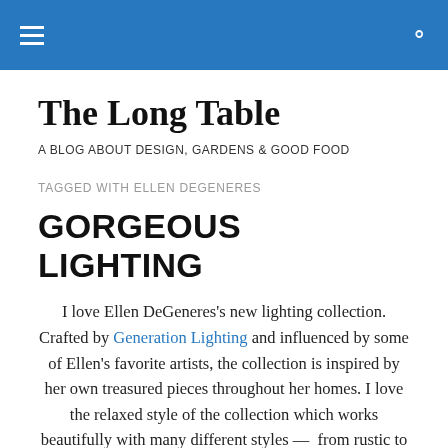The Long Table
A BLOG ABOUT DESIGN, GARDENS & GOOD FOOD
TAGGED WITH ELLEN DEGENERES
GORGEOUS LIGHTING
I love Ellen DeGeneres's new lighting collection. Crafted by Generation Lighting and influenced by some of Ellen's favorite artists, the collection is inspired by her own treasured pieces throughout her homes. I love the relaxed style of the collection which works beautifully with many different styles —  from rustic to mid-century.